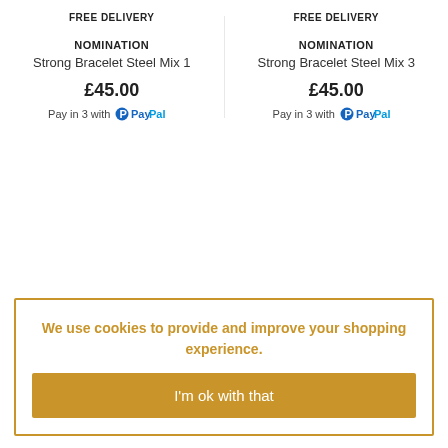FREE DELIVERY
FREE DELIVERY
NOMINATION
Strong Bracelet Steel Mix 1
£45.00
Pay in 3 with PayPal
NOMINATION
Strong Bracelet Steel Mix 3
£45.00
Pay in 3 with PayPal
We use cookies to provide and improve your shopping experience.
I'm ok with that